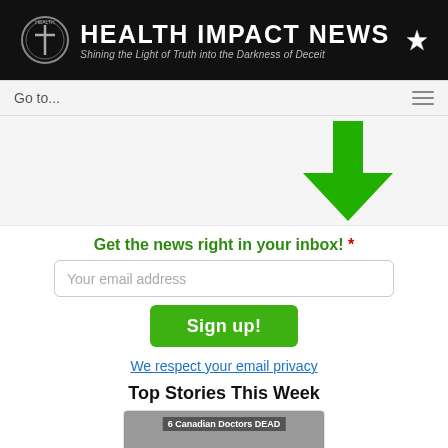HEALTH IMPACT NEWS — Shining the Light of Truth into the Darkness of Deceit
Go to...
[Figure (illustration): Large green downward arrow]
Get the news right in your inbox! *
Your email address
Sign up!
We respect your email privacy
Top Stories This Week
[Figure (photo): Photo thumbnail with text overlay reading '6 Canadian Doctors DEAD']